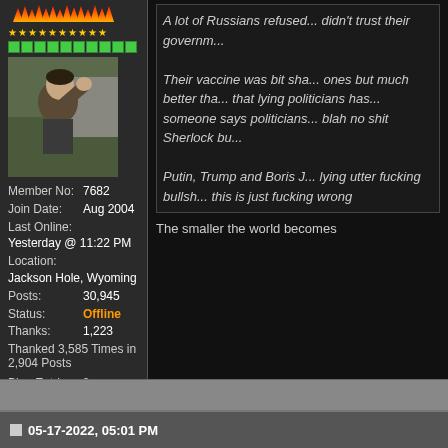[Figure (photo): Forum user profile panel with flame/star decoration at top, green reputation bar, avatar photo of a man raising his hand, and user stats below]
Member No: 7682
Join Date: Aug 2004
Last Online: Yesterday @ 11:22 PM
Location: Jackson Hole, Wyoming
Posts: 30,945
Status: Offline
Thanks: 1,223
Thanked 3,585 Times in 2,904 Posts
Blog Entries: 8
Rep Power: 87
A lot of Russians refused... didn't trust their government
Their vaccine was bit sha... ones but much better tha... that lying politicians has... someone says politicians... blah no shit Sherlock bu...
Putin, Trump and Boris J... lying utter fucking bullsh... this is just fucking wrong
The smaller the world becomes
05-17-2022, 05:01 PM